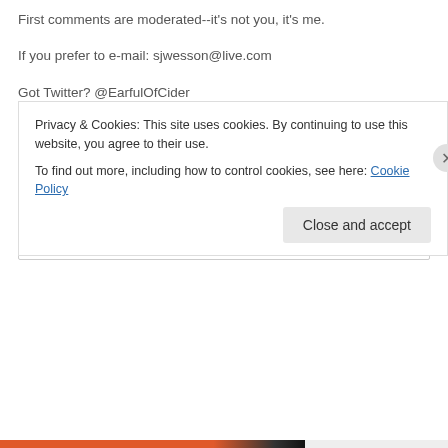First comments are moderated--it's not you, it's me.
If you prefer to e-mail: sjwesson@live.com
Got Twitter? @EarfulOfCider
I'm also on Facebook somewhere . . .
Type Something Here, See What Happens
Search
Privacy & Cookies: This site uses cookies. By continuing to use this website, you agree to their use.
To find out more, including how to control cookies, see here: Cookie Policy
Close and accept